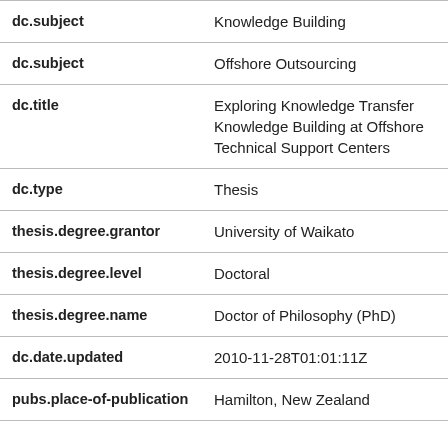| Field | Value |
| --- | --- |
| dc.subject | Knowledge Building |
| dc.subject | Offshore Outsourcing |
| dc.title | Exploring Knowledge Transfer Knowledge Building at Offshore Technical Support Centers |
| dc.type | Thesis |
| thesis.degree.grantor | University of Waikato |
| thesis.degree.level | Doctoral |
| thesis.degree.name | Doctor of Philosophy (PhD) |
| dc.date.updated | 2010-11-28T01:01:11Z |
| pubs.place-of-publication | Hamilton, New Zealand |